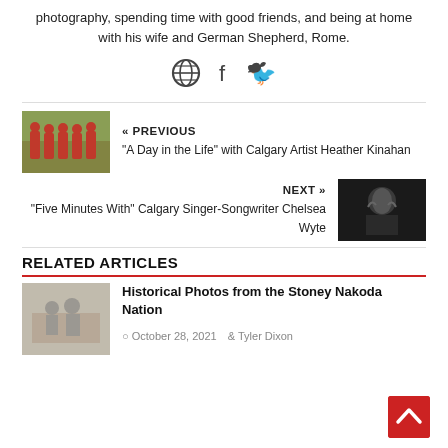photography, spending time with good friends, and being at home with his wife and German Shepherd, Rome.
[Figure (other): Social media icons: globe/world icon, Facebook icon, Twitter icon]
[Figure (photo): Previous article thumbnail: group of people wearing red uniforms outdoors with autumn trees]
« PREVIOUS
"A Day in the Life" with Calgary Artist Heather Kinahan
NEXT »
"Five Minutes With" Calgary Singer-Songwriter Chelsea Wyte
[Figure (photo): Next article thumbnail: dark moody portrait of a woman]
RELATED ARTICLES
[Figure (photo): Historical black and white photo thumbnail]
Historical Photos from the Stoney Nakoda Nation
October 28, 2021   Tyler Dixon